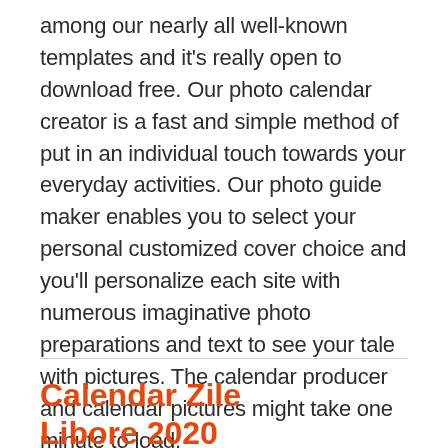among our nearly all well-known templates and it's really open to download free. Our photo calendar creator is a fast and simple method of put in an individual touch towards your everyday activities. Our photo guide maker enables you to select your personal customized cover choice and you'll personalize each site with numerous imaginative photo preparations and text to see your tale with pictures. The calendar producer and calendar pictures might take one minute to load.
Calendar Zile Libore 2020